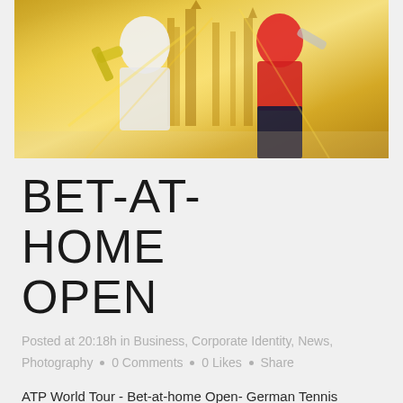[Figure (photo): Two tennis players in action with golden architectural background, one in white/yellow, one in red and dark pants]
BET-AT-HOME OPEN
Posted at 20:18h in Business, Corporate Identity, News, Photography • 0 Comments • 0 Likes • Share
ATP World Tour - Bet-at-home Open- German Tennis Championships, Am Rothenbaum, Hamburg. David Ferrer vs. Leonardo Mayer. What a day? Action-